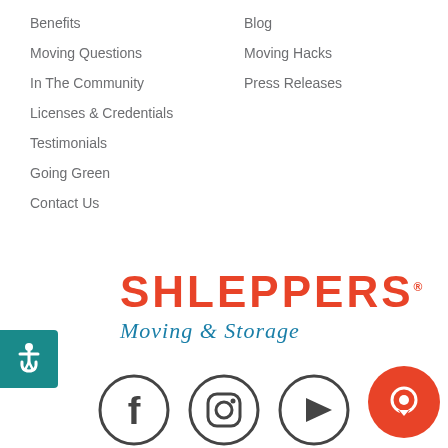Benefits
Blog
Moving Questions
Moving Hacks
In The Community
Press Releases
Licenses & Credentials
Testimonials
Going Green
Contact Us
[Figure (logo): Shleppers Moving & Storage logo — SHLEPPERS in bold red stencil font, Moving & Storage in italic teal/blue below]
[Figure (infographic): Accessibility icon (white wheelchair symbol on teal background), Facebook icon circle, Instagram icon circle, YouTube icon circle, orange chat bubble circle button]